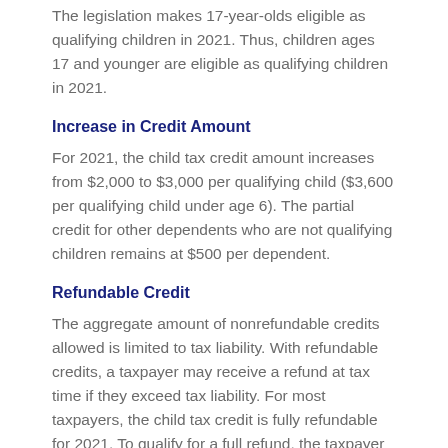The legislation makes 17-year-olds eligible as qualifying children in 2021. Thus, children ages 17 and younger are eligible as qualifying children in 2021.
Increase in Credit Amount
For 2021, the child tax credit amount increases from $2,000 to $3,000 per qualifying child ($3,600 per qualifying child under age 6). The partial credit for other dependents who are not qualifying children remains at $500 per dependent.
Refundable Credit
The aggregate amount of nonrefundable credits allowed is limited to tax liability. With refundable credits, a taxpayer may receive a refund at tax time if they exceed tax liability. For most taxpayers, the child tax credit is fully refundable for 2021. To qualify for a full refund, the taxpayer (or either spouse for joint returns) must generally reside in the United